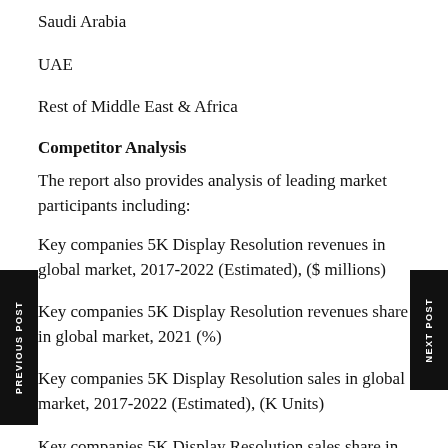Saudi Arabia
UAE
Rest of Middle East & Africa
Competitor Analysis
The report also provides analysis of leading market participants including:
Key companies 5K Display Resolution revenues in global market, 2017-2022 (Estimated), ($ millions)
Key companies 5K Display Resolution revenues share in global market, 2021 (%)
Key companies 5K Display Resolution sales in global market, 2017-2022 (Estimated), (K Units)
Key companies 5K Display Resolution sales share in